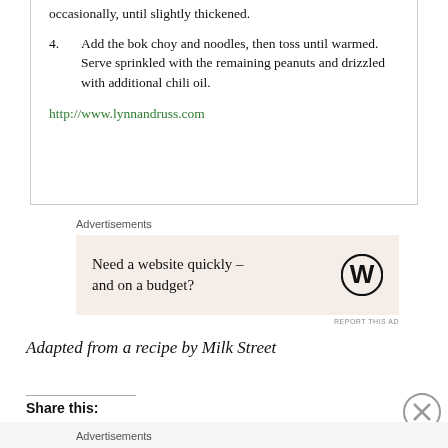occasionally, until slightly thickened.
4. Add the bok choy and noodles, then toss until warmed. Serve sprinkled with the remaining peanuts and drizzled with additional chili oil.
http://www.lynnandruss.com
Advertisements
[Figure (infographic): Advertisement box with text 'Need a website quickly – and on a budget?' and WordPress logo icon]
REPORT THIS AD
Adapted from a recipe by Milk Street
Share this:
Advertisements